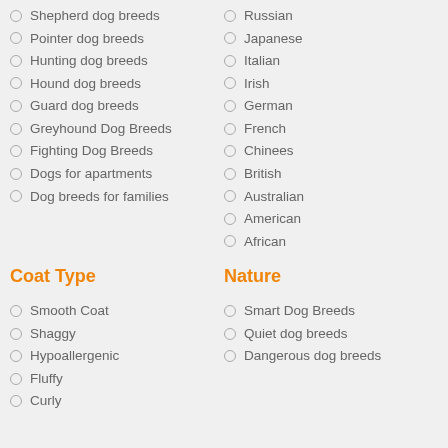Shepherd dog breeds
Pointer dog breeds
Hunting dog breeds
Hound dog breeds
Guard dog breeds
Greyhound Dog Breeds
Fighting Dog Breeds
Dogs for apartments
Dog breeds for families
Russian
Japanese
Italian
Irish
German
French
Chinees
British
Australian
American
African
Coat Type
Nature
Smooth Coat
Shaggy
Hypoallergenic
Fluffy
Curly
Smart Dog Breeds
Quiet dog breeds
Dangerous dog breeds